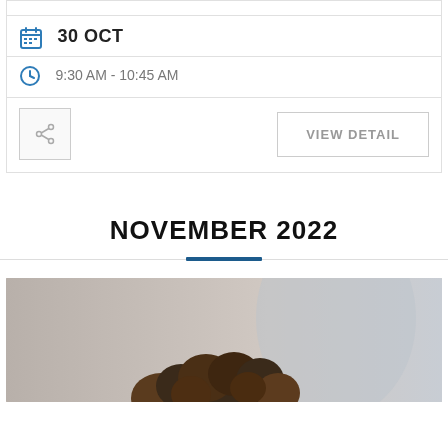30 OCT
9:30 AM - 10:45 AM
VIEW DETAIL
NOVEMBER 2022
[Figure (photo): A person with curly hair, cropped view showing top of head, blurred background]